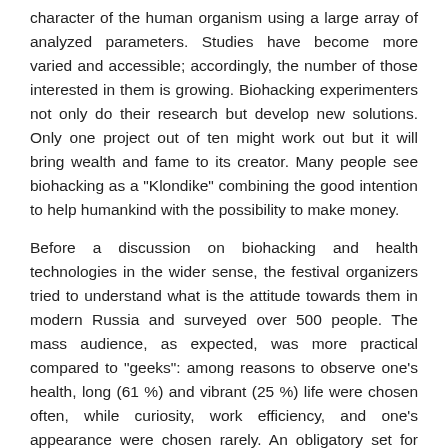character of the human organism using a large array of analyzed parameters. Studies have become more varied and accessible; accordingly, the number of those interested in them is growing. Biohacking experimenters not only do their research but develop new solutions. Only one project out of ten might work out but it will bring wealth and fame to its creator. Many people see biohacking as a "Klondike" combining the good intention to help humankind with the possibility to make money.
Before a discussion on biohacking and health technologies in the wider sense, the festival organizers tried to understand what is the attitude towards them in modern Russia and surveyed over 500 people. The mass audience, as expected, was more practical compared to "geeks": among reasons to observe one's health, long (61 %) and vibrant (25 %) life were chosen often, while curiosity, work efficiency, and one's appearance were chosen rarely. An obligatory set for maintaining good health included health